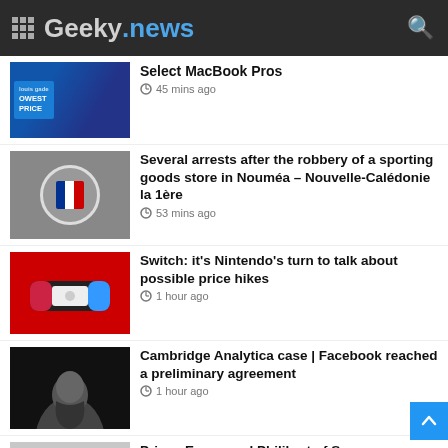Geeky.news
Select MacBook Pros
45 mins ago
Several arrests after the robbery of a sporting goods store in Nouméa – Nouvelle-Calédonie la 1ère
53 mins ago
Switch: it's Nintendo's turn to talk about possible price hikes
1 hour ago
Cambridge Analytica case | Facebook reached a preliminary agreement
1 hour ago
Prince Emmanuel Philibert of Savoy opens the doors to his virtual kingdom